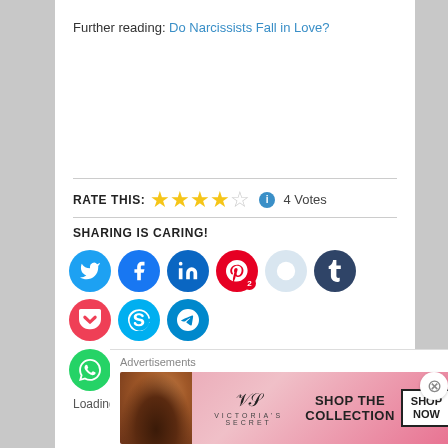Further reading: Do Narcissists Fall in Love?
RATE THIS: ★★★★☆ ℹ 4 Votes
SHARING IS CARING!
[Figure (infographic): Social sharing buttons: Twitter, Facebook, LinkedIn, Pinterest (with badge 2), Reddit, Tumblr, Pocket, Skype, Telegram (row 1); WhatsApp, Email, Print (row 2)]
Loading...
Advertisements
[Figure (photo): Victoria's Secret advertisement banner with woman model, VS logo, 'SHOP THE COLLECTION' text, and 'SHOP NOW' button]